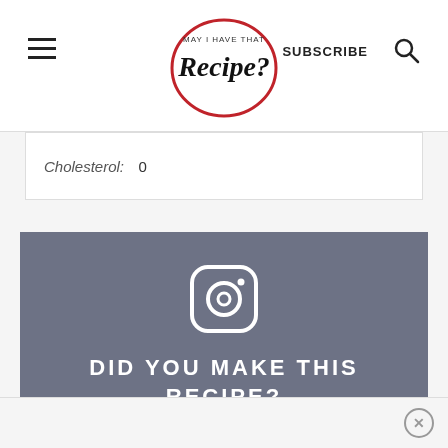May I Have That Recipe? — SUBSCRIBE
Cholesterol: 0
[Figure (infographic): Instagram call-to-action block with Instagram icon, headline 'DID YOU MAKE THIS RECIPE?', and text 'Tag @mayihavethatrecipe on Instagram and hashtag it #mayihavethatrecipe #tahiniandturmeric']
Tag @mayihavethatrecipe on Instagram and hashtag it #mayihavethatrecipe #tahiniandturmeric